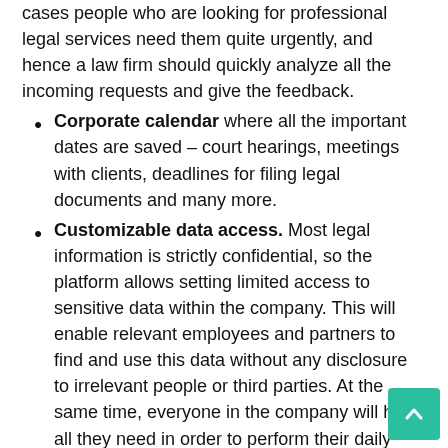cases people who are looking for professional legal services need them quite urgently, and hence a law firm should quickly analyze all the incoming requests and give the feedback.
Corporate calendar where all the important dates are saved – court hearings, meetings with clients, deadlines for filing legal documents and many more.
Customizable data access. Most legal information is strictly confidential, so the platform allows setting limited access to sensitive data within the company. This will enable relevant employees and partners to find and use this data without any disclosure to irrelevant people or third parties. At the same time, everyone in the company will have all they need in order to perform their daily professional duties.
Data integrity. Legal CRM implies having a single point of data entry. Once the data is put in the system, it will be reflected in all relevant fields and sections. This saves you the trouble of inserting the same data more than once and, most importantly, the risk of downloading divergent or wrong information is as